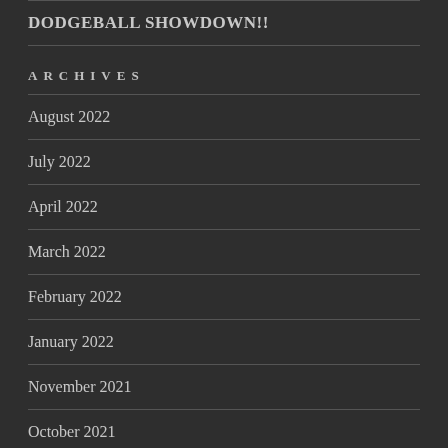DODGEBALL SHOWDOWN!!
ARCHIVES
August 2022
July 2022
April 2022
March 2022
February 2022
January 2022
November 2021
October 2021